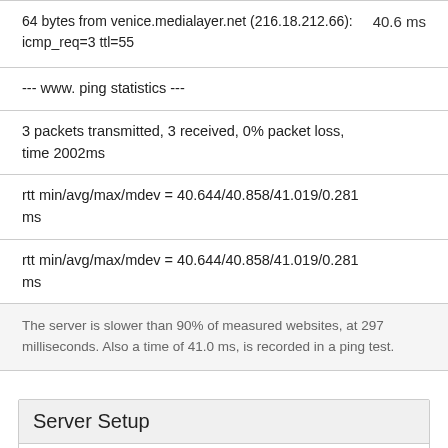64 bytes from venice.medialayer.net (216.18.212.66): icmp_req=3 ttl=55    40.6 ms
--- www. ping statistics ---
3 packets transmitted, 3 received, 0% packet loss, time 2002ms
rtt min/avg/max/mdev = 40.644/40.858/41.019/0.281 ms
rtt min/avg/max/mdev = 40.644/40.858/41.019/0.281 ms
The server is slower than 90% of measured websites, at 297 milliseconds. Also a time of 41.0 ms, is recorded in a ping test.
Server Setup
|  |  |
| --- | --- |
| Transfer-Encoding: | chunked |